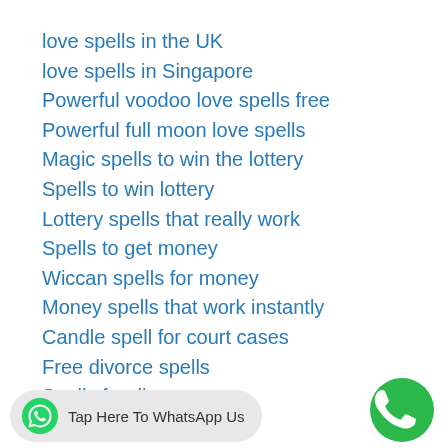love spells in the UK
love spells in Singapore
Powerful voodoo love spells free
Powerful full moon love spells
Magic spells to win the lottery
Spells to win lottery
Lottery spells that really work
Spells to get money
Wiccan spells for money
Money spells that work instantly
Candle spell for court cases
Free divorce spells
Spells for divorce
[Figure (logo): Green circular phone button and WhatsApp bar with text 'Tap Here To WhatsApp Us']